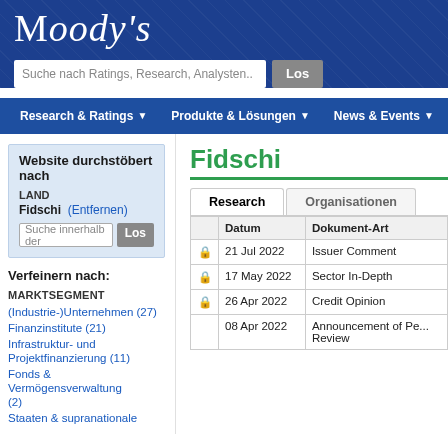Moody's
Suche nach Ratings, Research, Analysten..
Research & Ratings | Produkte & Lösungen | News & Events
Fidschi
Website durchstöbert nach
LAND
Fidschi (Entfernen)
Suche innerhalb der
Verfeinern nach:
MARKTSEGMENT
(Industrie-)Unternehmen (27)
Finanzinstitute (21)
Infrastruktur- und Projektfinanzierung (11)
Fonds & Vermögensverwaltung (2)
Staaten & supranationale
|  | Datum | Dokument-Art |
| --- | --- | --- |
| 🔒 | 21 Jul 2022 | Issuer Comment |
| 🔒 | 17 May 2022 | Sector In-Depth |
| 🔒 | 26 Apr 2022 | Credit Opinion |
|  | 08 Apr 2022 | Announcement of Pe... Review |